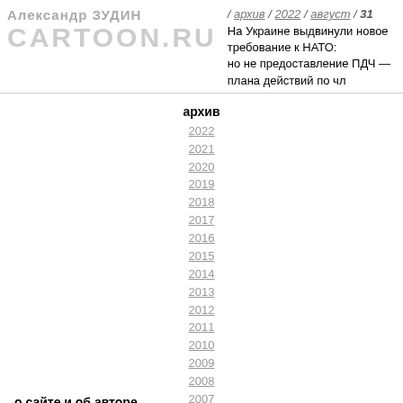Александр ЗУДИН | архив / 2022 / август / 31
На Украине выдвинули новое требование к НАТО: но не предоставление ПДЧ — плана действий по чл
архив
2022
2021
2020
2019
2018
2017
2016
2015
2014
2013
2012
2011
2010
2009
2008
2007
2006
2005
2004
2003
2002
2001
2000
1999
о сайте и об авторе
автобиография  <= 2022/08/30